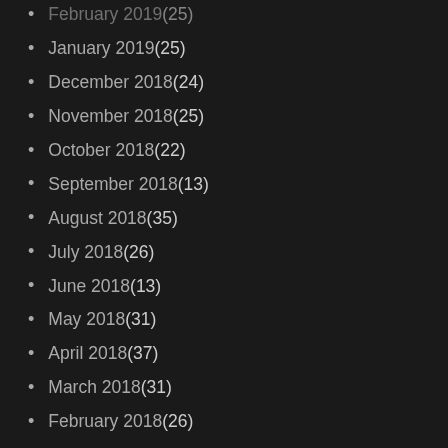February 2019 (25)
January 2019 (25)
December 2018 (24)
November 2018 (25)
October 2018 (22)
September 2018 (13)
August 2018 (35)
July 2018 (26)
June 2018 (13)
May 2018 (31)
April 2018 (37)
March 2018 (31)
February 2018 (26)
January 2018 (28)
December 2017 (31)
November 2017 (38)
October 2017 (28)